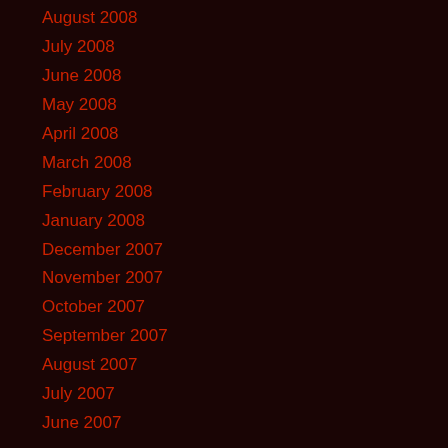August 2008
July 2008
June 2008
May 2008
April 2008
March 2008
February 2008
January 2008
December 2007
November 2007
October 2007
September 2007
August 2007
July 2007
June 2007